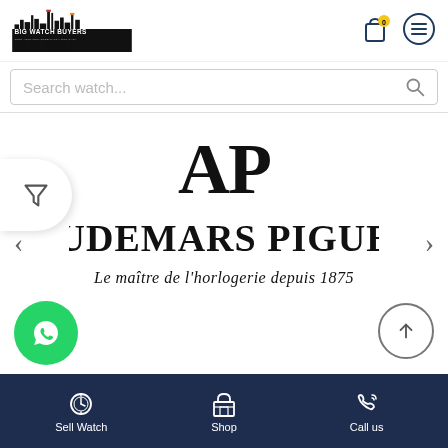[Figure (logo): Big Watch Buyers logo — city skyline silhouette with text 'BIG WATCH BUYERS' and tagline 'TURN YOUR UNWANTED WATCH INTO CASH']
[Figure (screenshot): Shopping cart icon with badge showing '0' and hamburger menu icon in top right header]
Search watch...
[Figure (logo): Audemars Piguet logo — AP monogram and full name 'AUDEMARS PIGUET' with tagline 'Le maître de l'horlogerie depuis 1875']
[Figure (infographic): WhatsApp button (green circle with phone icon), scroll-to-top button (circle with up arrow), carousel left/right arrows, and filter funnel icon]
Sell Watch   Shop   Call us